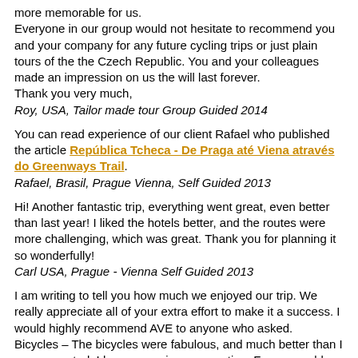more memorable for us.
Everyone in our group would not hesitate to recommend you and your company for any future cycling trips or just plain tours of the the Czech Republic. You and your colleagues made an impression on us the will last forever.
Thank you very much,
Roy, USA, Tailor made tour Group Guided 2014
You can read experience of our client Rafael who published the article República Tcheca - De Praga até Viena através do Greenways Trail.
Rafael, Brasil, Prague Vienna, Self Guided 2013
Hi! Another fantastic trip, everything went great, even better than last year! I liked the hotels better, and the routes were more challenging, which was great. Thank you for planning it so wonderfully!
Carl USA, Prague - Vienna Self Guided 2013
I am writing to tell you how much we enjoyed our trip. We really appreciate all of your extra effort to make it a success. I would highly recommend AVE to anyone who asked.
Bicycles – The bicycles were fabulous, and much better than I ever expected. I have one minor suggestion. For some older riders, a little…